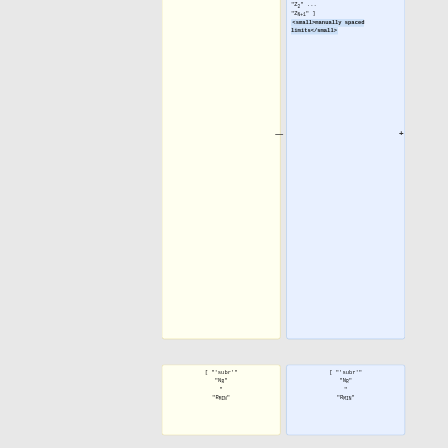"Z<sub>MIN</sub>" "Z<sub>MAX</sub>" ]
"Z<sub>MIN</sub>" "Z<sub>MAX</sub>" ] <small>equal volume</small> [ "'subz'" "-N<sub>Z</sub>" "Z<sub>1</sub>" "Z<sub>2</sub>" ... "Z<sub>N+1</sub>" ] <small>manually spaced limits</small>
[ "'subr'" "N<sub>R</sub>" "R<sub>MIN</sub>
[ "'subr'" "N<sub>R</sub>" "R<sub>MIN</sub>